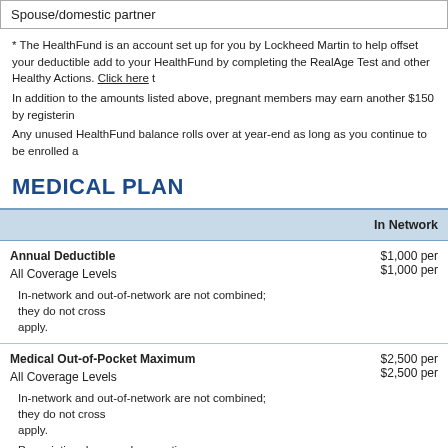Spouse/domestic partner
* The HealthFund is an account set up for you by Lockheed Martin to help offset your deductible add to your HealthFund by completing the RealAge Test and other Healthy Actions. Click here t
In addition to the amounts listed above, pregnant members may earn another $150 by registerin
Any unused HealthFund balance rolls over at year-end as long as you continue to be enrolled a
MEDICAL PLAN
|  | In Network |
| --- | --- |
| Annual Deductible
All Coverage Levels
In-network and out-of-network are not combined; they do not cross apply. | $1,000 per
$1,000 per |
| Medical Out-of-Pocket Maximum
All Coverage Levels
In-network and out-of-network are not combined; they do not cross apply.
Prescription drugs and preventive care expenses do not count toward the out-of-pocket maximum. In addition, amounts over Reasonable & Customary (R&C) and non-covered services do not accumulate to the | $2,500 per
$2,500 per |